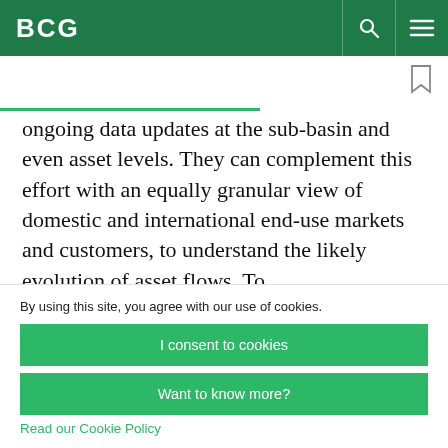BCG
ongoing data updates at the sub-basin and even asset levels. They can complement this effort with an equally granular view of domestic and international end-use markets and customers, to understand the likely evolution of asset flows. To
By using this site, you agree with our use of cookies.
I consent to cookies
Want to know more?
Read our Cookie Policy